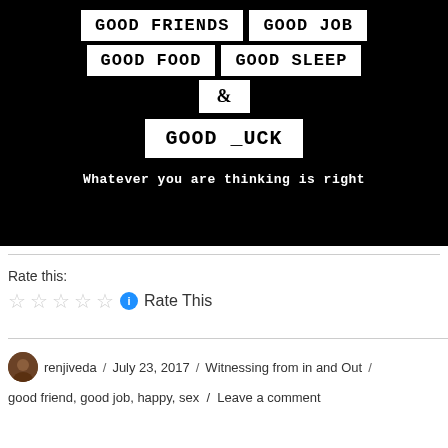[Figure (illustration): Black background image with white text boxes reading: 'GOOD FRIENDS', 'GOOD JOB', 'GOOD FOOD', 'GOOD SLEEP', '&', 'GOOD _UCK', and tagline 'Whatever you are thinking is right']
Rate this:
Rate This
renjiveda / July 23, 2017 / Witnessing from in and Out / good friend, good job, happy, sex / Leave a comment